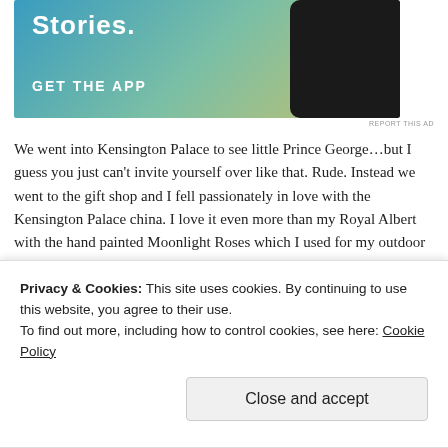[Figure (screenshot): Advertisement banner with gradient blue-green-yellow background, text 'Stories.' and 'GET THE APP' with a phone mockup on the right side]
REPORT THIS AD
We went into Kensington Palace to see little Prince George…but I guess you just can't invite yourself over like that. Rude. Instead we went to the gift shop and I fell passionately in love with the Kensington Palace china. I love it even more than my Royal Albert with the hand painted Moonlight Roses which I used for my outdoor dinners with riparian entertainments.
After that we went to one of my very favorite places in all of London, the SUNKEN GARDEN!
[Figure (photo): Partial view of a garden photo strip at the bottom of the page]
Privacy & Cookies: This site uses cookies. By continuing to use this website, you agree to their use.
To find out more, including how to control cookies, see here: Cookie Policy
Close and accept